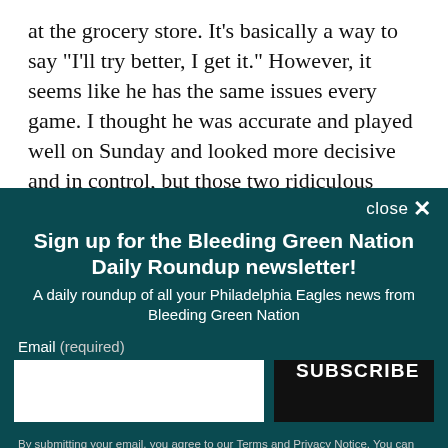at the grocery store. It's basically a way to say "I'll try better, I get it." However, it seems like he has the same issues every game. I thought he was accurate and played well on Sunday and looked more decisive and in control, but those two ridiculous picks are game-changers if the defense doesn't play so well. At this
close ✕
Sign up for the Bleeding Green Nation Daily Roundup newsletter!
A daily roundup of all your Philadelphia Eagles news from Bleeding Green Nation
Email (required)
SUBSCRIBE
By submitting your email, you agree to our Terms and Privacy Notice. You can opt out at any time. This site is protected by reCAPTCHA and the Google Privacy Policy and Terms of Service apply.